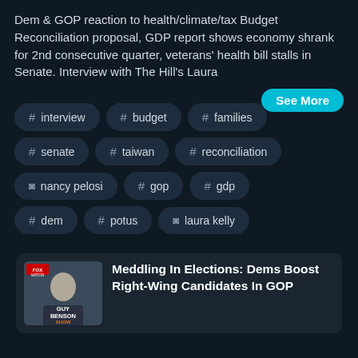Dem & GOP reaction to health/climate/tax Budget Reconciliation proposal, GDP report shows economy shrank for 2nd consecutive quarter, veterans' health bill stalls in Senate. Interview with The Hill's Laura
See More
# interview
# budget
# families
# senate
# taiwan
# reconciliation
person nancy pelosi
# gop
# gdp
# dem
# potus
person laura kelly
Meddling In Elections: Dems Boost Right-Wing Candidates In GOP